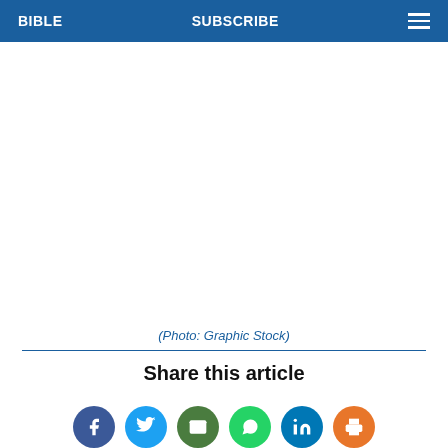BIBLE   SUBSCRIBE
[Figure (photo): White/blank image area placeholder for a photo]
(Photo: Graphic Stock)
Share this article
[Figure (other): Row of social media share icons: Facebook, Twitter, Email, WhatsApp, LinkedIn, Print]